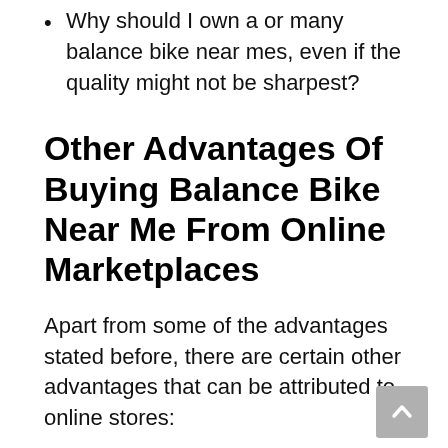Why should I own a or many balance bike near mes, even if the quality might not be sharpest?
Other Advantages Of Buying Balance Bike Near Me From Online Marketplaces
Apart from some of the advantages stated before, there are certain other advantages that can be attributed to online stores:
Promotions
There are a lot of promotional prices and